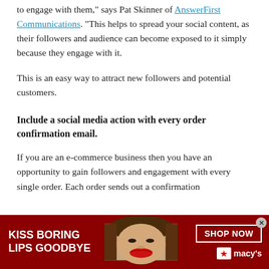to engage with them," says Pat Skinner of AnswerFirst Communications. "This helps to spread your social content, as their followers and audience can become exposed to it simply because they engage with it.
This is an easy way to attract new followers and potential customers.
Include a social media action with every order confirmation email.
If you are an e-commerce business then you have an opportunity to gain followers and engagement with every single order. Each order sends out a confirmation
[Figure (infographic): Macy's advertisement banner: dark red background with woman's face showing red lips, white text 'KISS BORING LIPS GOODBYE', a 'SHOP NOW' button with white border, and Macy's star logo]